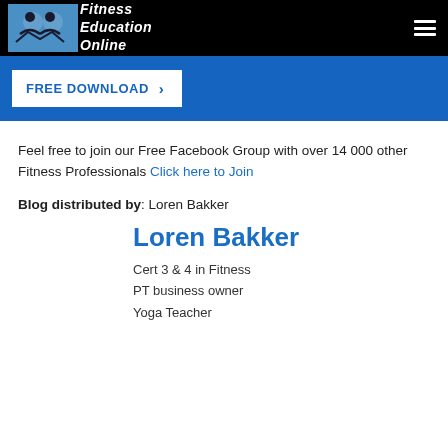Fitness Education Online
FREE DOWNLOAD >
Feel free to join our Free Facebook Group with over 14 000 other Fitness Professionals Click here to Join
Blog distributed by: Loren Bakker
Loren Bakker
Cert 3 & 4 in Fitness
PT business owner
Yoga Teacher